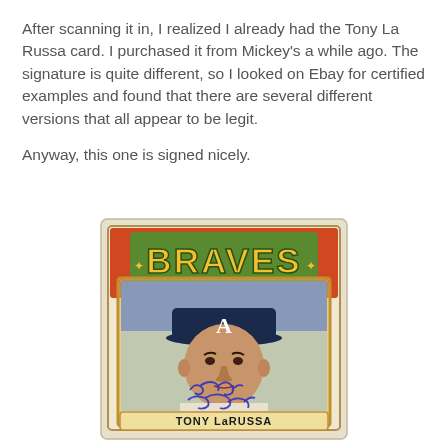After scanning it in, I realized I already had the Tony La Russa card.  I purchased it from Mickey's a while ago.  The signature is quite different, so I looked on Ebay for certified examples and found that there are several different versions that all appear to be legit.

Anyway, this one is signed nicely.
[Figure (photo): A 1972 Topps Tony LaRussa baseball card showing a young man wearing an Atlanta Braves cap with the letter A, with a blue ink autograph/signature on the front of the card and the name TONY LaRUSSA printed at the bottom.]